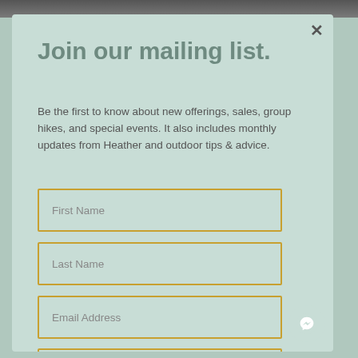Join our mailing list.
Be the first to know about new offerings, sales, group hikes, and special events. It also includes monthly updates from Heather and outdoor tips & advice.
First Name
Last Name
Email Address
Interests